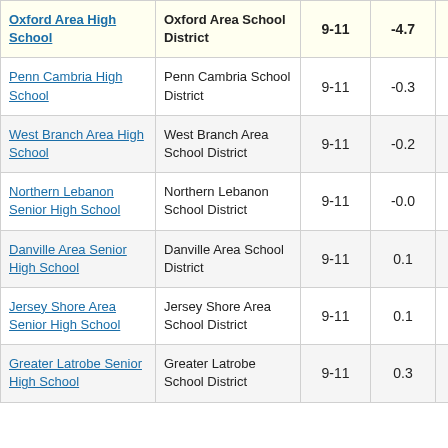| School | District | Grades | Score |  |
| --- | --- | --- | --- | --- |
| Oxford Area High School | Oxford Area School District | 9-11 | -4.7 |  |
| Penn Cambria High School | Penn Cambria School District | 9-11 | -0.3 |  |
| West Branch Area High School | West Branch Area School District | 9-11 | -0.2 |  |
| Northern Lebanon Senior High School | Northern Lebanon School District | 9-11 | -0.0 |  |
| Danville Area Senior High School | Danville Area School District | 9-11 | 0.1 |  |
| Jersey Shore Area Senior High School | Jersey Shore Area School District | 9-11 | 0.1 |  |
| Greater Latrobe Senior High School | Greater Latrobe School District | 9-11 | 0.3 |  |